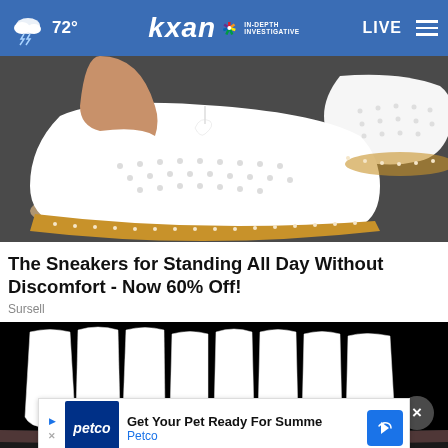72° kxan IN-DEPTH INVESTIGATIVE LIVE
[Figure (photo): Close-up photo of white perforated sneakers with tan/brown soles being worn on a dark surface]
The Sneakers for Standing All Day Without Discomfort - Now 60% Off!
Sursell
[Figure (photo): Close-up photo of white teeth on a black background]
Get Your Pet Ready For Summe Petco